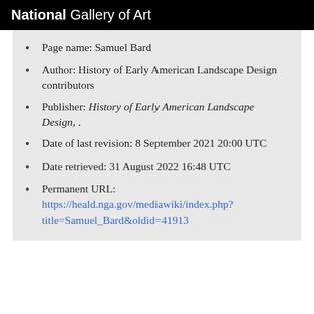National Gallery of Art
Page name: Samuel Bard
Author: History of Early American Landscape Design contributors
Publisher: History of Early American Landscape Design, .
Date of last revision: 8 September 2021 20:00 UTC
Date retrieved: 31 August 2022 16:48 UTC
Permanent URL: https://heald.nga.gov/mediawiki/index.php?title=Samuel_Bard&oldid=41913